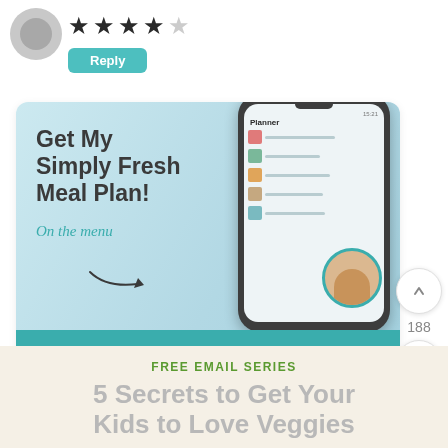[Figure (other): User avatar placeholder circle, grey]
[Figure (other): 4 out of 5 stars rating]
Reply
[Figure (infographic): Advertisement banner: Get My Simply Fresh Meal Plan! On the menu. Shows a phone with Planner app and a profile photo. Button: Start My 7-Day Free Trial]
188
FREE EMAIL SERIES
5 Secrets to Get Your Kids to Love Veggies